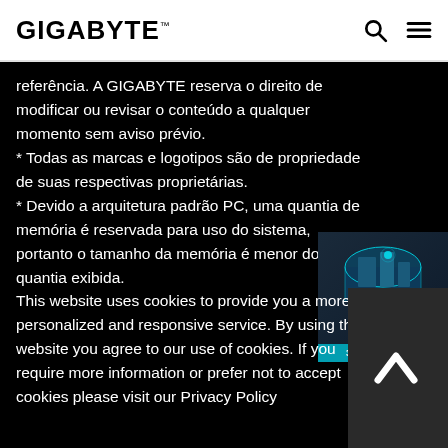GIGABYTE
referência. A GIGABYTE reserva o direito de modificar ou revisar o conteúdo a qualquer momento sem aviso prévio.
* Todas as marcas e logotipos são de propriedade de suas respectivas proprietárias.
* Devido a arquitetura padrão PC, uma quantia de memória é reservada para uso do sistema, portanto o tamanho da memória é menor do que a quantia exibida.
[Figure (illustration): 3D Industry banner with isometric building/city illustration and '3D INDUSTRY >' label]
This website uses cookies to provide you a more personalized and responsive service. By using this website you agree to our use of cookies. If you require more information or prefer not to accept cookies please visit our Privacy Policy.
[Figure (illustration): Dark grey box with white checkmark/accept icon]